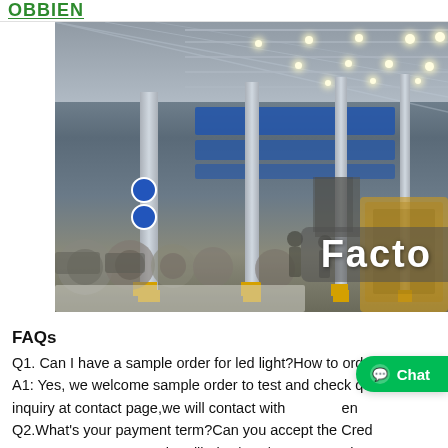OBBIEN
[Figure (photo): Interior of a large textile/manufacturing factory floor with industrial machinery, blue banners, concrete pillars with yellow bases, bright overhead LED lights, and a 'Facto' text overlay in the bottom right corner.]
FAQs
Q1. Can I have a sample order for led light?How to orde A1: Yes, we welcome sample order to test and check qu inquiry at contact page,we will contact with en Q2.What's your payment term?Can you accept the Cred A2:We accept payment by Alibaba / TT / Western Union